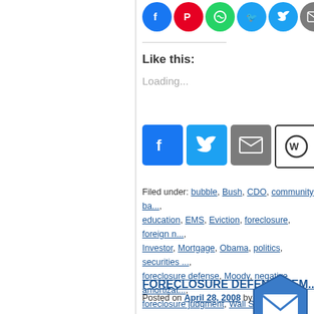[Figure (screenshot): Social share icons row at top: Facebook (blue circle), Pinterest (red circle), WhatsApp (green circle), Twitter (blue circle), another Twitter (blue circle), Email (grey circle)]
Like this:
Loading...
[Figure (screenshot): Social media buttons row: Facebook (blue square), Twitter (blue square), Email (grey square), WordPress (black/white square), Share/Plus (blue square)]
Filed under: bubble, Bush, CDO, community ba..., education, EMS, Eviction, foreclosure, foreign n..., Investor, Mortgage, Obama, politics, securities ..., foreclosure defense, Moody, negative amortizat..., foreclosure judgment, Wall Street, Wells Fargo...
FORECLOSURE DEFENSE: EM...
Posted on April 28, 2008 by Neil Garfield
IN THE SUPERIOR/CIRCU... OF T...
xxxxxxxxxxxxxxxxxxxxxxxxxxxxxxxxxxxxxxxxxxxxxxxxx
COUNTY OF _________ OF THE STAT...